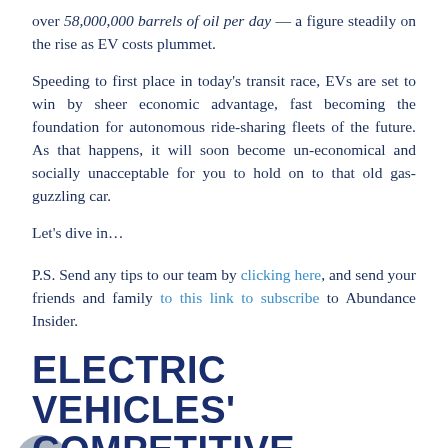over 58,000,000 barrels of oil per day — a figure steadily on the rise as EV costs plummet.
Speeding to first place in today's transit race, EVs are set to win by sheer economic advantage, fast becoming the foundation for autonomous ride-sharing fleets of the future. As that happens, it will soon become un-economical and socially unacceptable for you to hold on to that old gas-guzzling car.
Let's dive in…
P.S. Send any tips to our team by clicking here, and send your friends and family to this link to subscribe to Abundance Insider.
ELECTRIC VEHICLES' COMPETITIVE ADVANTAGE